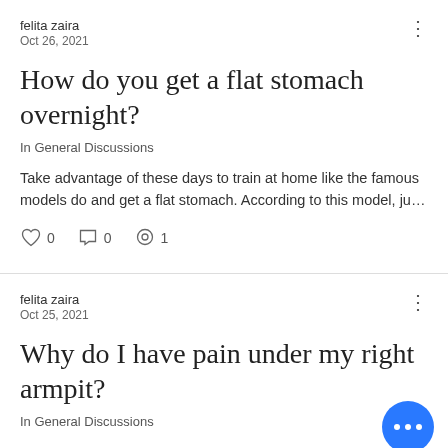felita zaira
Oct 26, 2021
How do you get a flat stomach overnight?
In General Discussions
Take advantage of these days to train at home like the famous models do and get a flat stomach. According to this model, ju…
0  0  1
felita zaira
Oct 25, 2021
Why do I have pain under my right armpit?
In General Discussions